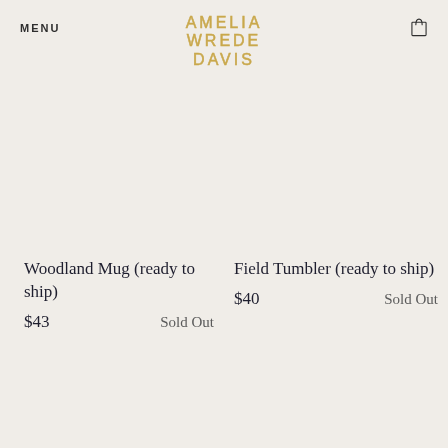MENU  AMELIA WREDE DAVIS  [cart icon]
AMELIA
WREDE
DAVIS
Woodland Mug (ready to ship)
$43  Sold Out
Field Tumbler (ready to ship)
$40  Sold Out